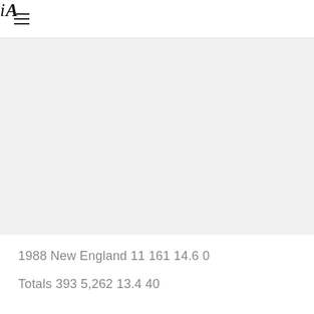iA
[Figure (other): Gray placeholder image area]
1988 New England 11 161 14.6 0
Totals 393 5,262 13.4 40